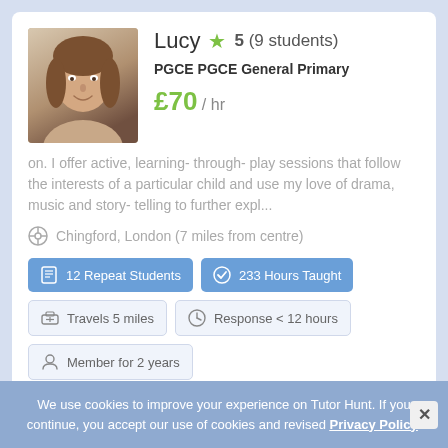Lucy ★ 5 (9 students)
PGCE PGCE General Primary
£70 / hr
on. I offer active, learning- through- play sessions that follow the interests of a particular child and use my love of drama, music and story- telling to further expl...
Chingford, London (7 miles from centre)
12 Repeat Students
233 Hours Taught
Travels 5 miles
Response < 12 hours
Member for 2 years
We use cookies to improve your experience on Tutor Hunt. If you continue, you accept our use of cookies and revised Privacy Policy.